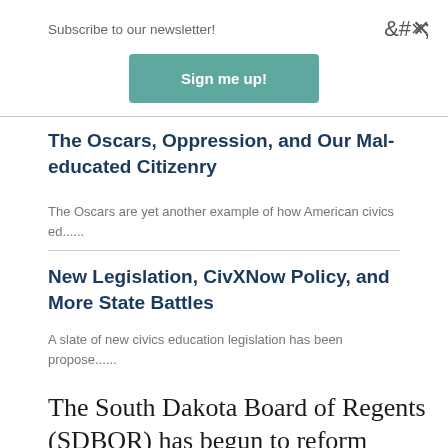Subscribe to our newsletter!
Sign me up!
The Oscars, Oppression, and Our Mal-educated Citizenry
The Oscars are yet another example of how American civics ed......
New Legislation, CivXNow Policy, and More State Battles
A slate of new civics education legislation has been propose......
The South Dakota Board of Regents (SDBOR) has begun to reform South Dakota's public